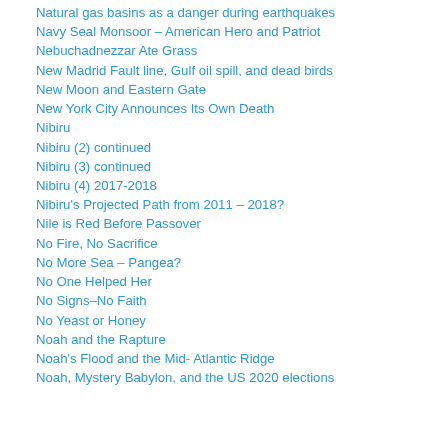Natural gas basins as a danger during earthquakes
Navy Seal Monsoor – American Hero and Patriot
Nebuchadnezzar Ate Grass
New Madrid Fault line, Gulf oil spill, and dead birds
New Moon and Eastern Gate
New York City Announces Its Own Death
Nibiru
Nibiru (2) continued
Nibiru (3) continued
Nibiru (4) 2017-2018
Nibiru's Projected Path from 2011 – 2018?
Nile is Red Before Passover
No Fire, No Sacrifice
No More Sea – Pangea?
No One Helped Her
No Signs–No Faith
No Yeast or Honey
Noah and the Rapture
Noah's Flood and the Mid- Atlantic Ridge
Noah, Mystery Babylon, and the US 2020 elections